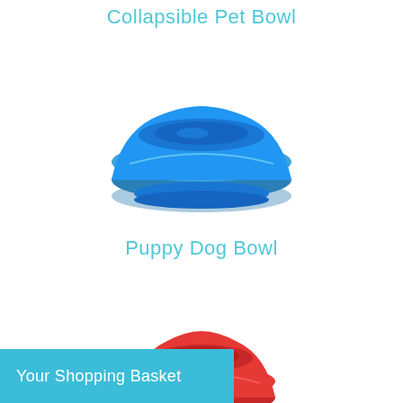Collapsible Pet Bowl
[Figure (photo): A blue plastic pet bowl viewed from a slight angle, showing a round wide-lipped bowl with a smooth interior depression.]
Puppy Dog Bowl
[Figure (photo): A red plastic pet bowl, partially visible at the bottom of the page, similar round shape with wide lip.]
Your Shopping Basket